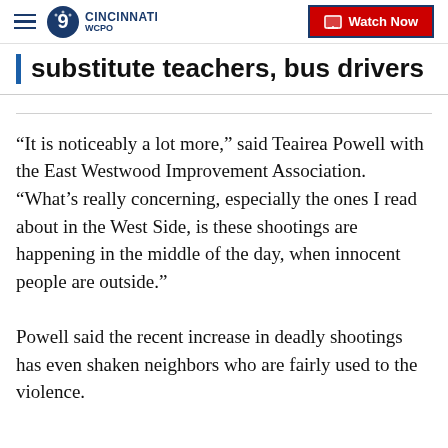WCPO 9 CINCINNATI | Watch Now
substitute teachers, bus drivers
“It is noticeably a lot more,” said Teairea Powell with the East Westwood Improvement Association. “What’s really concerning, especially the ones I read about in the West Side, is these shootings are happening in the middle of the day, when innocent people are outside.”
Powell said the recent increase in deadly shootings has even shaken neighbors who are fairly used to the violence.